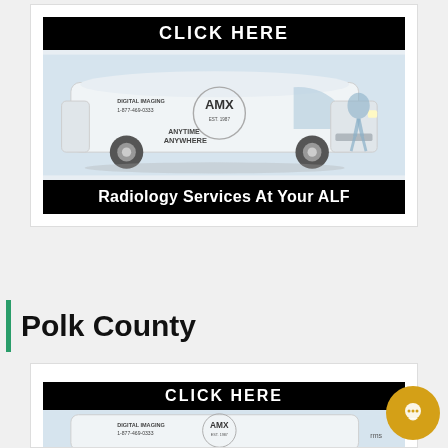[Figure (photo): AMX Mobile Radiology van advertisement with 'CLICK HERE' header bar and 'Radiology Services At Your ALF' footer bar. White van with X-ray imagery branded with AMX logo and 'Anytime Anywhere' text.]
Polk County
[Figure (photo): Second AMX Mobile Radiology van advertisement partially visible, with 'CLICK HERE' header bar.]